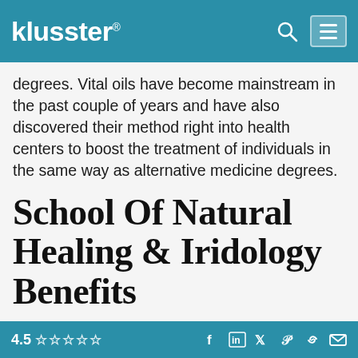klusster®
degrees. Vital oils have become mainstream in the past couple of years and have also discovered their method right into health centers to boost the treatment of individuals in the same way as alternative medicine degrees.
School Of Natural Healing & Iridology Benefits
Anxiety has turned into one of the major health issues in the USA in the same way as alternative medicine degrees online, with over half of iridology benefits the
4.5 ☆☆☆☆☆